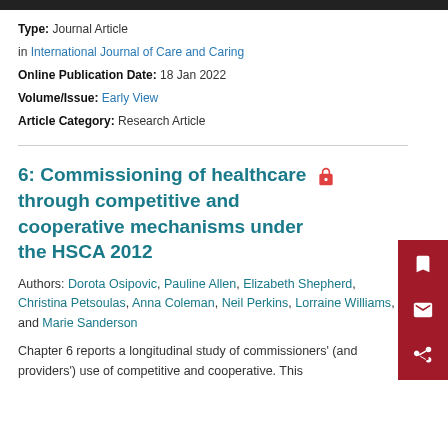Type: Journal Article
in International Journal of Care and Caring
Online Publication Date: 18 Jan 2022
Volume/Issue: Early View
Article Category: Research Article
6: Commissioning of healthcare through competitive and cooperative mechanisms under the HSCA 2012
Authors: Dorota Osipovic, Pauline Allen, Elizabeth Shepherd, Christina Petsoulas, Anna Coleman, Neil Perkins, Lorraine Williams, and Marie Sanderson
Chapter 6 reports a longitudinal study of commissioners' (and providers') use of competitive and cooperative. This